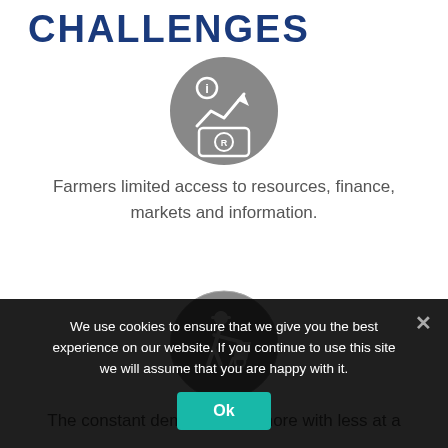CHALLENGES
[Figure (illustration): Gray circular icon with a white 'i' information symbol, upward trending arrow chart, and a banknote with 'R' symbol — representing financial information/resources]
Farmers limited access to resources, finance, markets and information.
[Figure (illustration): Gray circular icon with a white silhouette of a farmer pushing a wheelbarrow — representing agricultural labor]
The constant demand to do more with less at a
We use cookies to ensure that we give you the best experience on our website. If you continue to use this site we will assume that you are happy with it.